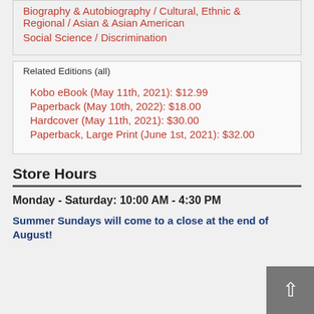Biography & Autobiography / Cultural, Ethnic & Regional / Asian & Asian American
Social Science / Discrimination
Related Editions (all)
Kobo eBook (May 11th, 2021): $12.99
Paperback (May 10th, 2022): $18.00
Hardcover (May 11th, 2021): $30.00
Paperback, Large Print (June 1st, 2021): $32.00
Store Hours
Monday - Saturday: 10:00 AM - 4:30 PM
Summer Sundays will come to a close at the end of August!